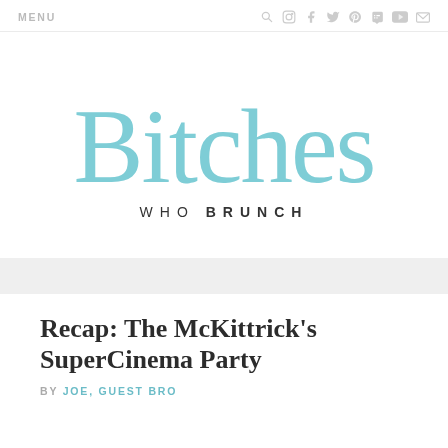MENU
[Figure (logo): Bitches Who Brunch logo — cursive script 'Bitches' in light teal/turquoise above 'WHO BRUNCH' in small caps serif]
Recap: The McKittrick's SuperCinema Party
BY JOE, GUEST BRO